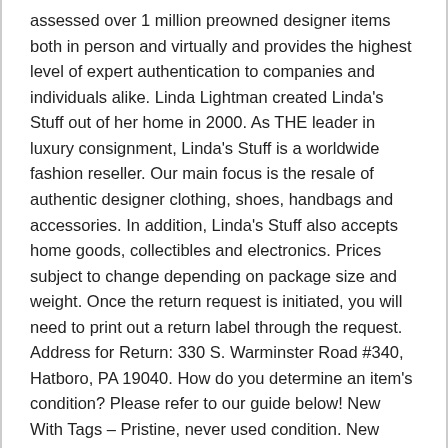assessed over 1 million preowned designer items both in person and virtually and provides the highest level of expert authentication to companies and individuals alike. Linda Lightman created Linda's Stuff out of her home in 2000. As THE leader in luxury consignment, Linda's Stuff is a worldwide fashion reseller. Our main focus is the resale of authentic designer clothing, shoes, handbags and accessories. In addition, Linda's Stuff also accepts home goods, collectibles and electronics. Prices subject to change depending on package size and weight. Once the return request is initiated, you will need to print out a return label through the request. Address for Return: 330 S. Warminster Road #340, Hatboro, PA 19040. How do you determine an item's condition? Please refer to our guide below! New With Tags – Pristine, never used condition. New Without Tags – No wear to the item. Never used condition, but without tags. Excellent – Only slight signs of wear. Does not diminish the